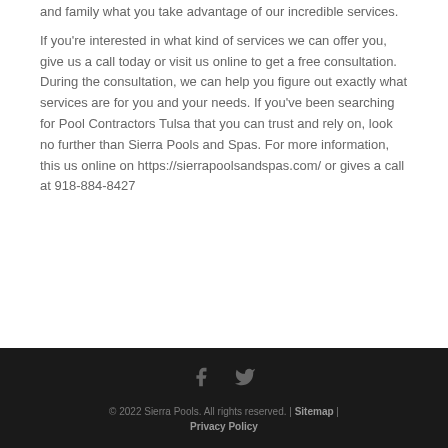and family what you take advantage of our incredible services.

If you're interested in what kind of services we can offer you, give us a call today or visit us online to get a free consultation. During the consultation, we can help you figure out exactly what services are for you and your needs. If you've been searching for Pool Contractors Tulsa that you can trust and rely on, look no further than Sierra Pools and Spas. For more information, this us online on https://sierrapoolsandspas.com/ or gives a call at 918-884-8427
© 2022 Sierra Pools. All rights reserved. | Sitemap | Privacy Policy